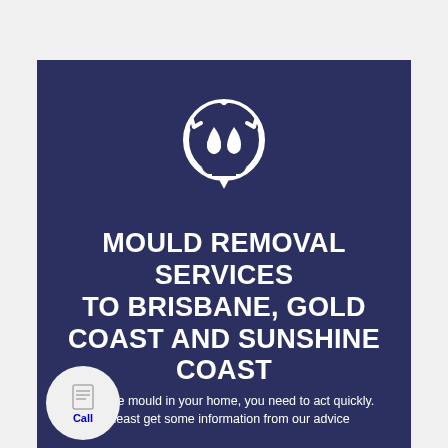[Figure (logo): White circular logo with water/mould drops icon on dark navy background]
MOULD REMOVAL SERVICES TO BRISBANE, GOLD COAST AND SUNSHINE COAST
you have mould in your home, you need to act quickly. At least get some information from our advice
[Figure (illustration): Small circular call bubble with document icon and blue 'Call' text]